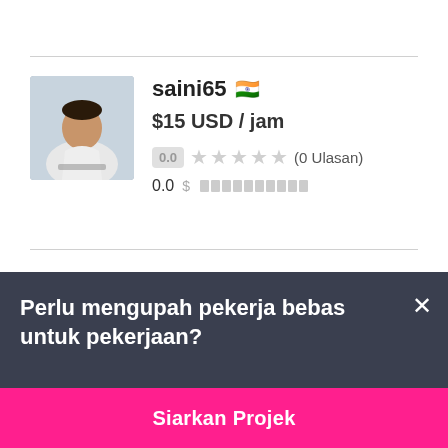[Figure (photo): Profile photo of user saini65, showing a man in a white shirt sitting at a desk with a laptop]
saini65 🇮🇳
$15 USD / jam
0.0 ★★★★★ (0 Ulasan)
0.0 $ ▓▓▓▓▓▓▓▓▓▓
Perlu mengupah pekerja bebas untuk pekerjaan?
Siarkan Projek